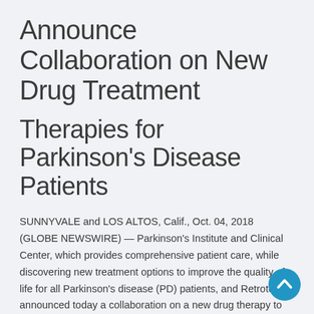Announce Collaboration on New Drug Treatment
Therapies for Parkinson’s Disease Patients
SUNNYVALE and LOS ALTOS, Calif., Oct. 04, 2018 (GLOBE NEWSWIRE) — Parkinson's Institute and Clinical Center, which provides comprehensive patient care, while discovering new treatment options to improve the quality of life for all Parkinson's disease (PD) patients, and Retrotope announced today a collaboration on a new drug therapy to treat patients with Progressive SupraNuclear Palsy (PSP), a type of treatment-resistant